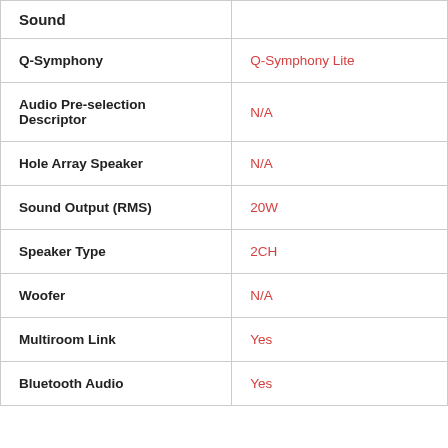| Feature | Value |
| --- | --- |
| Sound |  |
| Q-Symphony | Q-Symphony Lite |
| Audio Pre-selection Descriptor | N/A |
| Hole Array Speaker | N/A |
| Sound Output (RMS) | 20W |
| Speaker Type | 2CH |
| Woofer | N/A |
| Multiroom Link | Yes |
| Bluetooth Audio | Yes |